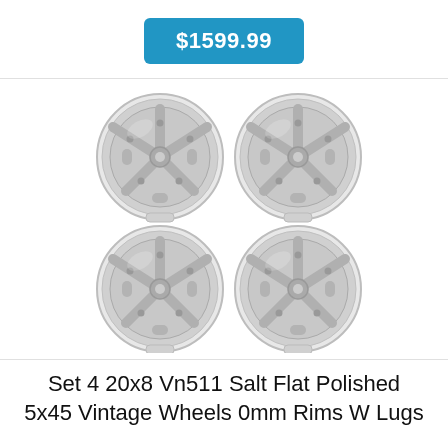$1599.99
[Figure (photo): Four polished chrome vintage wheels (Vn511 Salt Flat) arranged in a 2x2 grid on white background]
Set 4 20x8 Vn511 Salt Flat Polished 5x45 Vintage Wheels 0mm Rims W Lugs